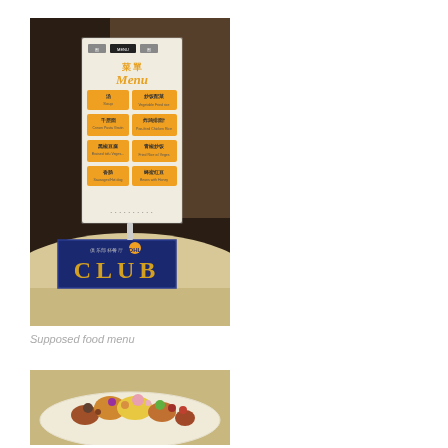[Figure (photo): Photo of a restaurant table with a menu card stand showing Chinese and English text 'Menu' with food items listed, and a dark blue 'CLUB' sign placard in front.]
Supposed food menu
[Figure (photo): Photo of a round plate with various food items/appetizers arranged on it, viewed from above on a table.]